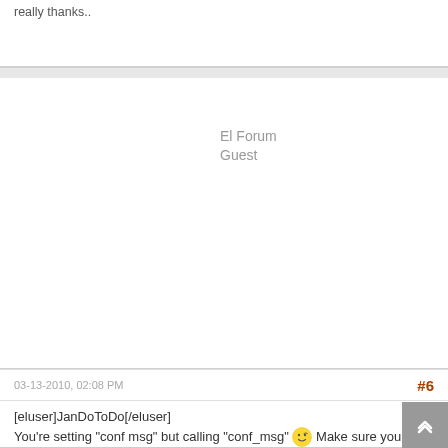really thanks..
El Forum
Guest
03-13-2010, 02:08 PM
#6
[eluser]JanDoToDo[/eluser]
You're setting "conf msg" but calling "conf_msg" Make sure you include the underscore lol